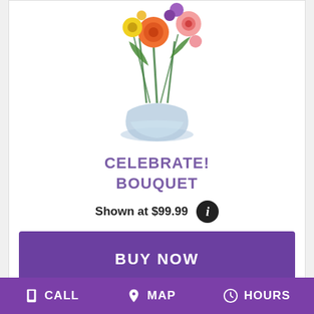[Figure (photo): Photo of a floral bouquet in a glass vase with orange, pink, purple flowers and green stems, shown partially at top of card]
CELEBRATE! BOUQUET
Shown at $99.99
[Figure (photo): Photo of bright pink and red gerbera daisies and roses bouquet, partially visible at bottom card]
CALL  MAP  HOURS